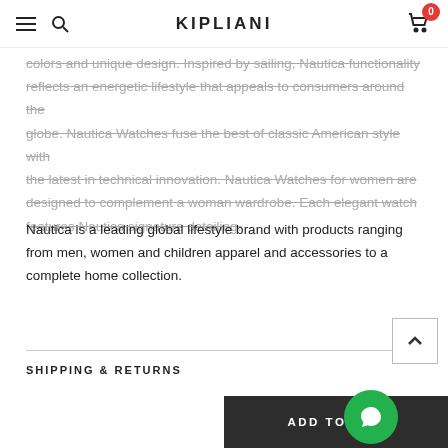KIPLIANI
colors and unique design. Inspired by sailing, Nautica functionality reflects an energetic lifestyle that appeals to consumers around the globe. Nautica Watches fuse the best of classic American style with the latest in technical innovation. Nautica Watches for women are designed to complement a woman wardrobe. Each elegant watch features Nautica signature detailing.
Nautica is a leading global lifestyle brand with products ranging from men, women and children apparel and accessories to a complete home collection.
SHIPPING & RETURNS